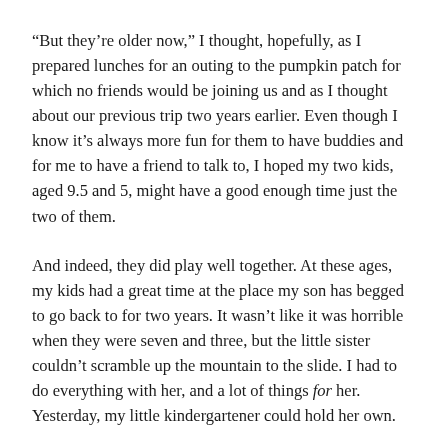“But they’re older now,” I thought, hopefully, as I prepared lunches for an outing to the pumpkin patch for which no friends would be joining us and as I thought about our previous trip two years earlier. Even though I know it’s always more fun for them to have buddies and for me to have a friend to talk to, I hoped my two kids, aged 9.5 and 5, might have a good enough time just the two of them.
And indeed, they did play well together. At these ages, my kids had a great time at the place my son has begged to go back to for two years. It wasn’t like it was horrible when they were seven and three, but the little sister couldn’t scramble up the mountain to the slide. I had to do everything with her, and a lot of things for her. Yesterday, my little kindergartener could hold her own.
Both kids carried their own pumpkins when we got off the hay ride for fantasizing and by our driving along the...